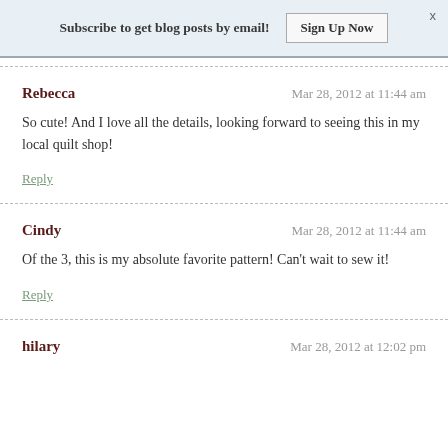Subscribe to get blog posts by email! Sign Up Now x
Rebecca
So cute! And I love all the details, looking forward to seeing this in my local quilt shop!
Reply
Cindy
Of the 3, this is my absolute favorite pattern! Can't wait to sew it!
Reply
hilary